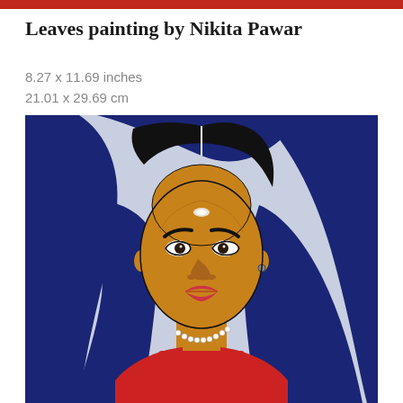Leaves painting by Nikita Pawar
8.27 x 11.69 inches
21.01 x 29.69 cm
[Figure (illustration): A painting of an Indian woman wearing a dark blue dupatta/sari draped over her head and shoulders, with a golden-brown complexion, a white bindi on her forehead, dark eyebrows, small nose, red lips, a pearl necklace, and a red blouse. The background is light blue/lavender. The style is folk/naive art.]